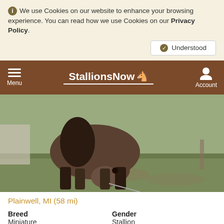We use Cookies on our website to enhance your browsing experience. You can read how we use Cookies on our Privacy Policy.
Understood
StallionsNow — Menu | Account
[Figure (photo): A small miniature horse (buckskin color) grazing on grass, viewed from the side, with a lead rope attached.]
Plainwell, MI (58 mi)
Breed: Miniature | Gender: Stallion | Color: Buckskin | Height (hh): N/A